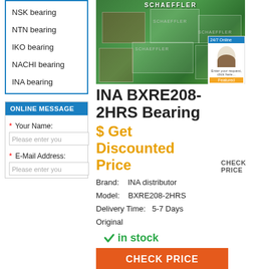NSK bearing
NTN bearing
IKO bearing
NACHI bearing
INA bearing
ONLINE MESSAGE
* Your Name:
Please enter you
* E-Mail Address:
Please enter you
[Figure (photo): Schaeffler / INA bearing product boxes stacked, green packaging with SCHAEFFLER branding]
INA BXRE208-2HRS Bearing
$ Get Discounted Price  CHECK PRICE
Brand:  INA distributor
Model:  BXRE208-2HRS
Delivery Time:  5-7 Days
Original
✓in stock
CHECK PRICE